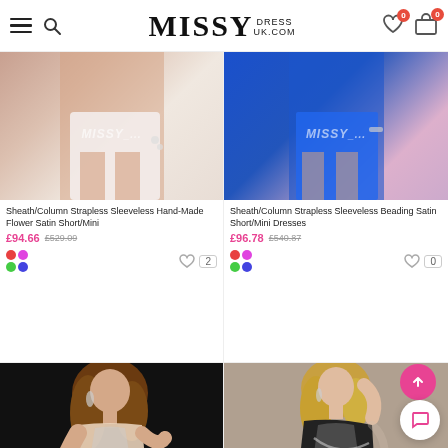[Figure (screenshot): MissyDressUK.com website header with hamburger menu, search icon, logo, heart icon with badge 0, and cart icon with badge 0]
[Figure (photo): White sheath/column dress on model, cropped to lower body with watermark MISSY]
Sheath/Column Strapless Sleeveless Hand-Made Flower Satin Short/Mini
£94.66  £529.09
[Figure (photo): Blue sheath/column dress on model, cropped to lower body with watermark MISSY]
Sheath/Column Strapless Sleeveless Beading Satin Short/Mini Dresses
£96.78  £540.87
[Figure (photo): Model in beaded nude/pink strapless short dress against black background]
[Figure (photo): Model in black beaded one-shoulder short dress against light background]